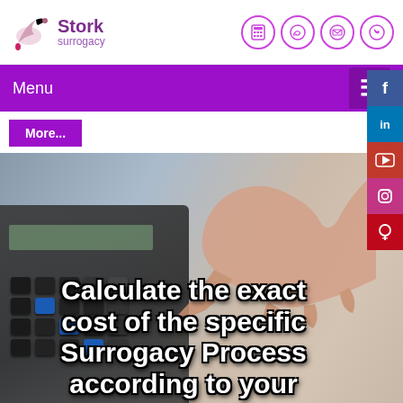[Figure (logo): Stork Surrogacy logo with stylized bird and text]
[Figure (infographic): Header icons: calculator, WhatsApp, email, phone in purple circles]
Menu
More...
[Figure (photo): Background photo of a hand pressing calculator keys, blurred]
Calculate the exact cost of the specific Surrogacy Process according to your